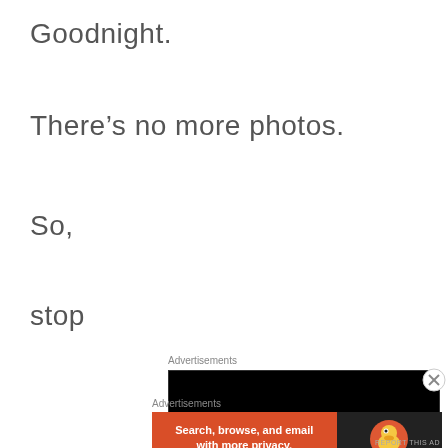Goodnight.
There’s no more photos.
So,
stop
Advertisements
[Figure (logo): Longreads logo: red circle with L on black background with inner border]
[Figure (logo): DuckDuckGo advertisement: orange section with text 'Search, browse, and email with more privacy. All in One Free App' and DuckDuckGo duck logo on dark background]
Advertisements